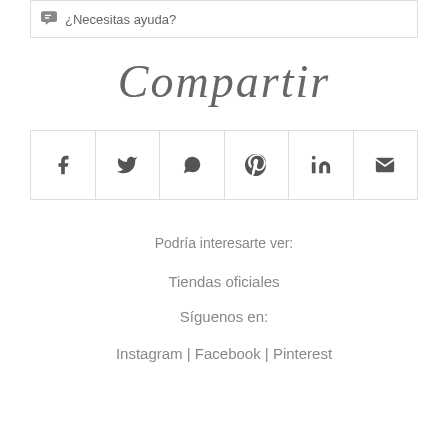¿Necesitas ayuda?
Compartir
[Figure (infographic): Social sharing icon bar with 6 icons: Facebook (f), Twitter (bird), WhatsApp, Pinterest (p), LinkedIn (in), Email (envelope)]
Podría interesarte ver:
Tiendas oficiales
Síguenos en:
Instagram | Facebook | Pinterest